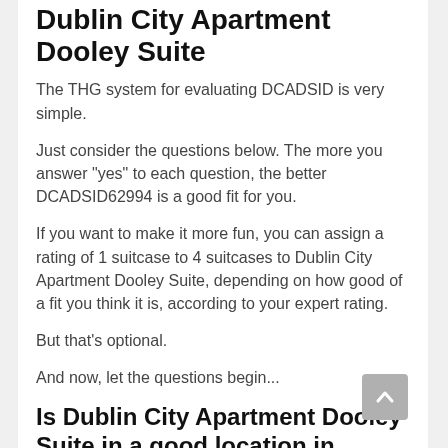Dublin City Apartment Dooley Suite
The THG system for evaluating DCADSID is very simple.
Just consider the questions below. The more you answer "yes" to each question, the better DCADSID62994 is a good fit for you.
If you want to make it more fun, you can assign a rating of 1 suitcase to 4 suitcases to Dublin City Apartment Dooley Suite, depending on how good of a fit you think it is, according to your expert rating.
But that's optional.
And now, let the questions begin...
Is Dublin City Apartment Dooley Suite in a good location in Dublin for you?
When you want to be located in Dublin, some of the...